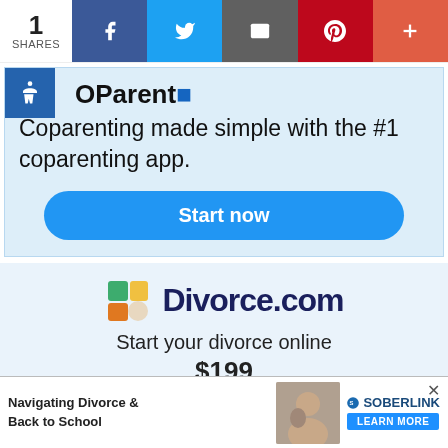1 SHARES | Facebook | Twitter | Email | Pinterest | More
OParent
Coparenting made simple with the #1 coparenting app.
Start now
[Figure (logo): Divorce.com logo with colorful square icon]
Divorce.com
Start your divorce online
$199
Navigating Divorce & Back to School
[Figure (photo): Photo of adult and child, Soberlink advertisement]
SOBERLINK LEARN MORE